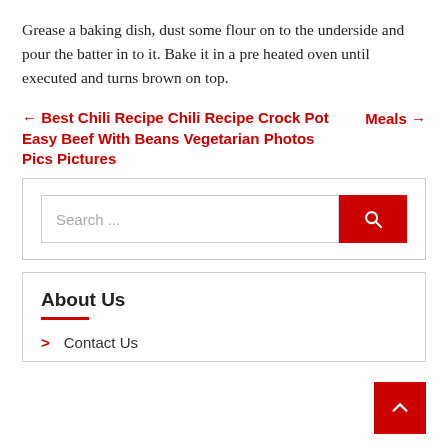Grease a baking dish, dust some flour on to the underside and pour the batter in to it. Bake it in a pre heated oven until executed and turns brown on top.
← Best Chili Recipe Chili Recipe Crock Pot Easy Beef With Beans Vegetarian Photos Pics Pictures
Meals →
[Figure (other): Search bar with text input field and red search button with magnifying glass icon]
About Us
> Contact Us